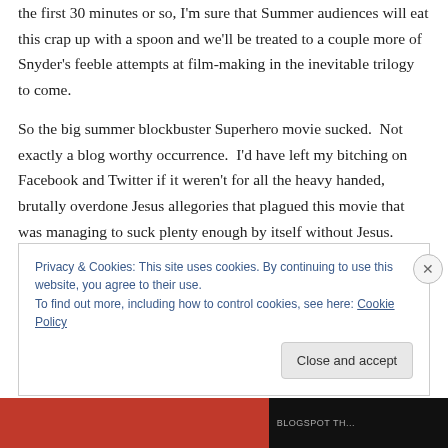the first 30 minutes or so, I'm sure that Summer audiences will eat this crap up with a spoon and we'll be treated to a couple more of Snyder's feeble attempts at film-making in the inevitable trilogy to come.
So the big summer blockbuster Superhero movie sucked.  Not exactly a blog worthy occurrence.  I'd have left my bitching on Facebook and Twitter if it weren't for all the heavy handed, brutally overdone Jesus allegories that plagued this movie that was managing to suck plenty enough by itself without Jesus.
Privacy & Cookies: This site uses cookies. By continuing to use this website, you agree to their use.
To find out more, including how to control cookies, see here: Cookie Policy